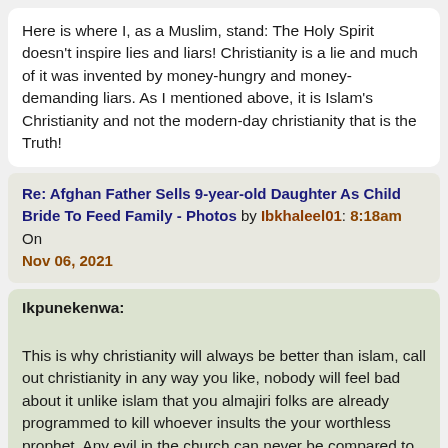Here is where I, as a Muslim, stand: The Holy Spirit doesn't inspire lies and liars! Christianity is a lie and much of it was invented by money-hungry and money-demanding liars. As I mentioned above, it is Islam's Christianity and not the modern-day christianity that is the Truth!
Re: Afghan Father Sells 9-year-old Daughter As Child Bride To Feed Family - Photos by Ibkhaleel01: 8:18am On Nov 06, 2021
Ikpunekenwa: This is why christianity will always be better than islam, call out christianity in any way you like, nobody will feel bad about it unlike islam that you almajiri folks are already programmed to kill whoever insults the your worthless prophet. Any evil in the church can never be compared to the atrocities comitted in the mosque.